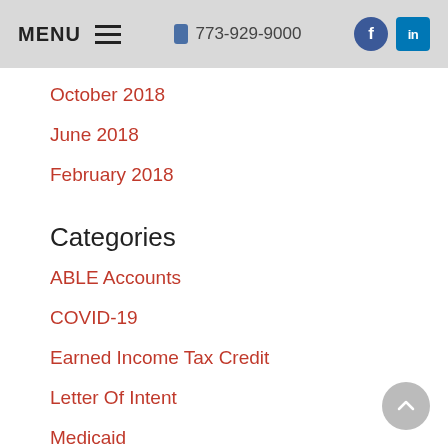MENU  773-929-9000
October 2018
June 2018
February 2018
Categories
ABLE Accounts
COVID-19
Earned Income Tax Credit
Letter Of Intent
Medicaid
PASS
Retirement Planning
Social Security Disability Benefits